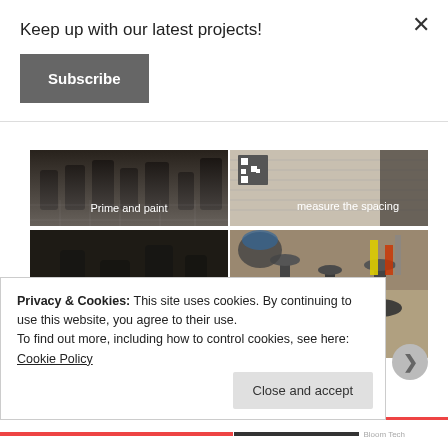Keep up with our latest projects!
Subscribe
[Figure (photo): Photo grid row 1 left: Prime and paint - dark miniature figures on tile surface]
[Figure (photo): Photo grid row 1 right: measure the spacing - rulers/QR code on paper]
[Figure (photo): Photo grid row 2 left: close-up of dark painted miniature bases on tile]
[Figure (photo): Photo grid row 2 right: close-up of unpainted miniature bases/goblets on worktable]
Privacy & Cookies: This site uses cookies. By continuing to use this website, you agree to their use.
To find out more, including how to control cookies, see here: Cookie Policy
Close and accept